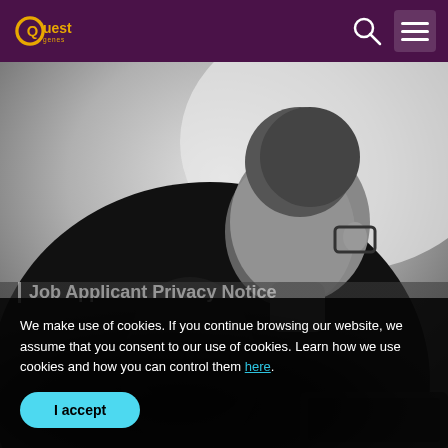Quest logo navigation bar with search and menu icons
[Figure (photo): Black and white photo of a man with glasses viewed from two angles or a double exposure, one profile and one facing slightly forward, wearing dark clothing, with a laptop visible at the bottom right]
Job Applicant Privacy Notice
We make use of cookies. If you continue browsing our website, we assume that you consent to our use of cookies. Learn how we use cookies and how you can control them here.
I accept